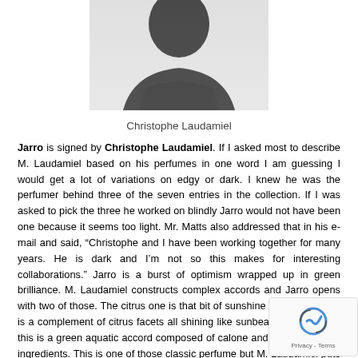[Figure (photo): Black and white photo of Christophe Laudamiel, showing upper body/head in dark clothing against light background]
Christophe Laudamiel
Jarro is signed by Christophe Laudamiel. If I asked most to describe M. Laudamiel based on his perfumes in one word I am guessing I would get a lot of variations on edgy or dark. I knew he was the perfumer behind three of the seven entries in the collection. If I was asked to pick the three he worked on blindly Jarro would not have been one because it seems too light. Mr. Matts also addressed that in his e-mail and said, “Christophe and I have been working together for many years. He is dark and I’m not so this makes for interesting collaborations.” Jarro is a burst of optimism wrapped up in green brilliance. M. Laudamiel constructs complex accords and Jarro opens with two of those. The citrus one is that bit of sunshine in a jar as there is a complement of citrus facets all shining like sunbeams. Matched to this is a green aquatic accord composed of calone and la… among other ingredients. This is one of those classic perfume… but M. Laudamiel puts his spin on it by keeping it on the light s… green deepens with muguet as the focal point in the middle part of